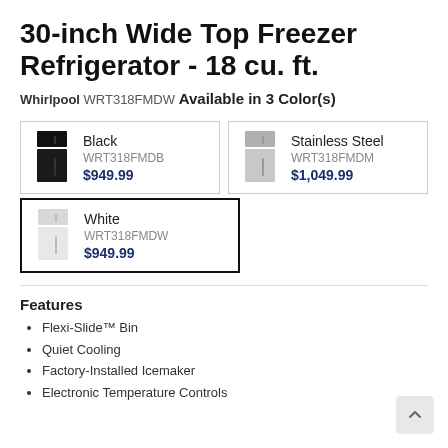30-inch Wide Top Freezer Refrigerator - 18 cu. ft.
Whirlpool WRT318FMDW
Available in 3 Color(s)
| Image | Color | SKU | Price |
| --- | --- | --- | --- |
| [black fridge] | Black | WRT318FMDB | $949.99 |
| [stainless fridge] | Stainless Steel | WRT318FMDM | $1,049.99 |
| [white fridge] | White | WRT318FMDW | $949.99 |
Features
Flexi-Slide™ Bin
Quiet Cooling
Factory-Installed Icemaker
Electronic Temperature Controls